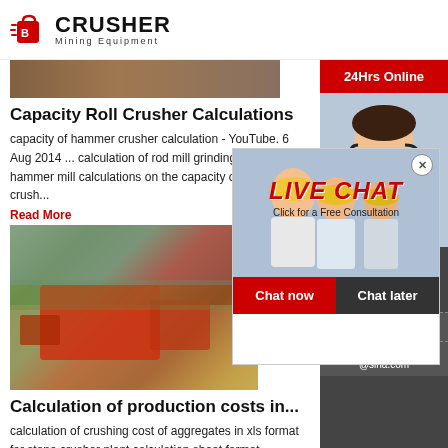CRUSHER Mining Equipment
[Figure (photo): Top image strip showing mining/industrial scene]
Capacity Roll Crusher Calculations
capacity of hammer crusher calculation - YouTube. 6 Aug 2014 ... calculation of rod mill grinding capacity rock hammer mill calculations on the capacity of a cone crush...
Read More
[Figure (photo): Crusher machine at a mining site]
[Figure (photo): Live Chat popup overlay with workers in hard hats, LIVE CHAT heading, Chat now and Chat later buttons]
Calculation of production costs in...
calculation of crushing cost of aggregates in xls format for stone crusher plant calculation sheet format calculation of crushing cost of aggregates 400g divided by 500g which is 80 If we include...
[Figure (screenshot): Right sidebar: 24Hrs Online banner, headset agent photo, Need questions & suggestion? Chat Now button, Enquiry, limingjlmofen@sina.com]